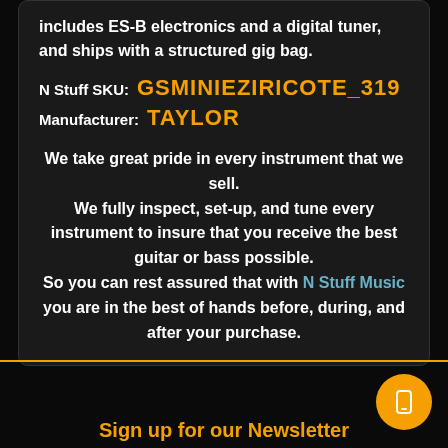includes ES-B electronics and a digital tuner, and ships with a structured gig bag.
N Stuff SKU: GSMINIEZIRICOTE_319
Manufacturer: TAYLOR
We take great pride in every instrument that we sell. We fully inspect, set-up, and tune every instrument to insure that you receive the best guitar or bass possible. So you can rest assured that with N Stuff Music you are in the best of hands before, during, and after your purchase.
Sign up for our Newsletter